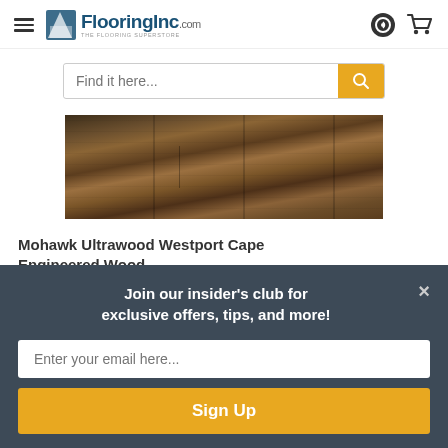FlooringInc.com
Find it here...
[Figure (photo): Close-up photo of dark brown wood flooring planks showing natural wood grain texture]
Mohawk Ultrawood Westport Cape Engineered Wood
Join our insider's club for exclusive offers, tips, and more!
Enter your email here...
Sign Up